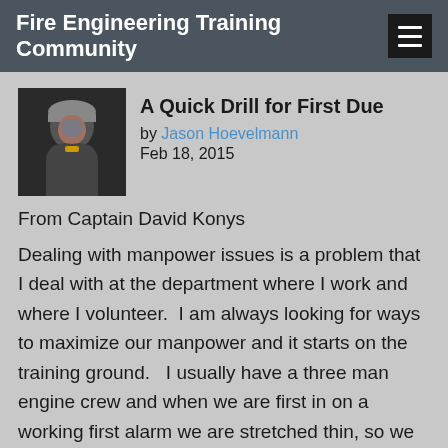Fire Engineering Training Community
A Quick Drill for First Due
by Jason Hoevelmann
Feb 18, 2015
From Captain David Konys
Dealing with manpower issues is a problem that I deal with at the department where I work and where I volunteer.  I am always looking for ways to maximize our manpower and it starts on the training ground.   I usually have a three man engine crew and when we are first in on a working first alarm we are stretched thin, so we have to train to be proficient and everyone knows their roles. We start by talking about what each person's roles are and make sure they understand it.  During training and drills is the time for questions, not on the fire ground